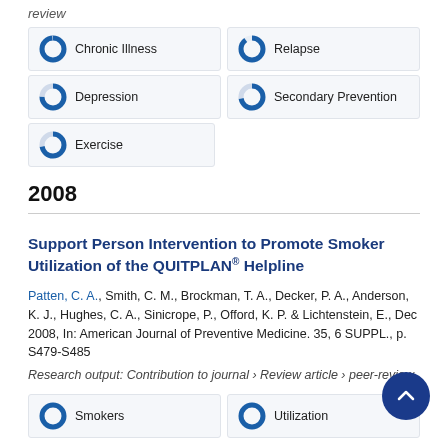review
Chronic Illness
Relapse
Depression
Secondary Prevention
Exercise
2008
Support Person Intervention to Promote Smoker Utilization of the QUITPLAN® Helpline
Patten, C. A., Smith, C. M., Brockman, T. A., Decker, P. A., Anderson, K. J., Hughes, C. A., Sinicrope, P., Offord, K. P. & Lichtenstein, E., Dec 2008, In: American Journal of Preventive Medicine. 35, 6 SUPPL., p. S479-S485
Research output: Contribution to journal › Review article › peer-review
Smokers
Utilization